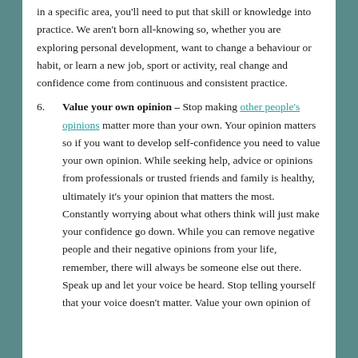in a specific area, you'll need to put that skill or knowledge into practice. We aren't born all-knowing so, whether you are exploring personal development, want to change a behaviour or habit, or learn a new job, sport or activity, real change and confidence come from continuous and consistent practice.
6. Value your own opinion – Stop making other people's opinions matter more than your own. Your opinion matters so if you want to develop self-confidence you need to value your own opinion. While seeking help, advice or opinions from professionals or trusted friends and family is healthy, ultimately it's your opinion that matters the most. Constantly worrying about what others think will just make your confidence go down. While you can remove negative people and their negative opinions from your life, remember, there will always be someone else out there. Speak up and let your voice be heard. Stop telling yourself that your voice doesn't matter. Value your own opinion of